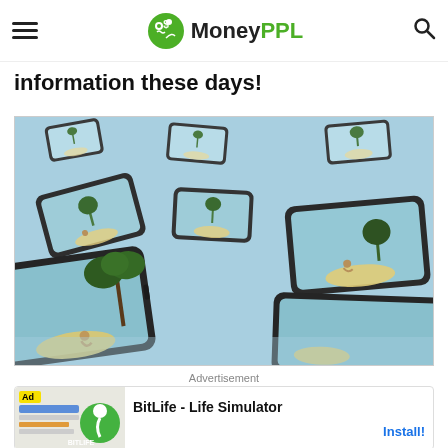MoneyPPL
information these days!
[Figure (illustration): Satirical illustration showing multiple smartphones floating like islands in the ocean, with tiny people sitting alone on sandy islands on each phone screen, surrounded by palm trees — symbolizing social media isolation.]
Advertisement
[Figure (infographic): Advertisement banner for BitLife - Life Simulator app, showing the BitLife logo with green sperm icon on left side and text 'BitLife - Life Simulator' with an 'Install!' button on the right.]